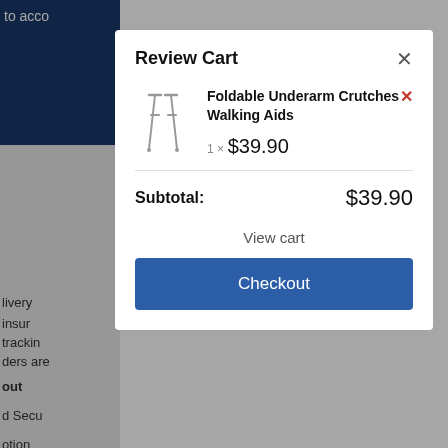Review Cart
Foldable Underarm Crutches Walking Aids
1 x $39.90
Subtotal: $39.90
View cart
Checkout